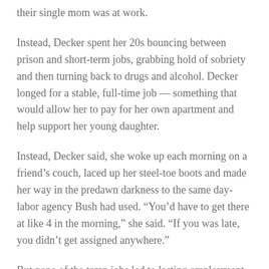their single mom was at work.
Instead, Decker spent her 20s bouncing between prison and short-term jobs, grabbing hold of sobriety and then turning back to drugs and alcohol. Decker longed for a stable, full-time job — something that would allow her to pay for her own apartment and help support her young daughter.
Instead, Decker said, she woke up each morning on a friend's couch, laced up her steel-toe boots and made her way in the predawn darkness to the same day-labor agency Bush had used. “You’d have to get there at like 4 in the morning,” she said. “If you was late, you didn’t get assigned anywhere.”
But none of the temp jobs led to lasting employment. Once, Decker said, a temp agency sent her to a nearby warehouse with the promise of a permanent job and benefits after 90 days. But the job ended the